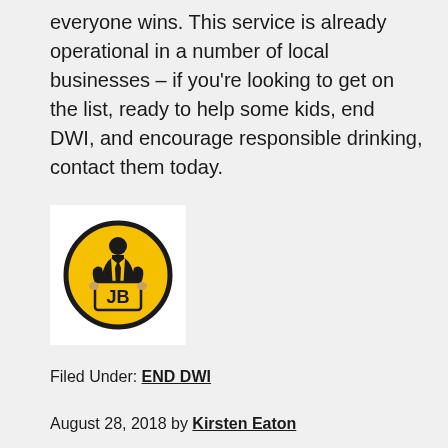everyone wins. This service is already operational in a number of local businesses – if you're looking to get on the list, ready to help some kids, end DWI, and encourage responsible drinking, contact them today.
[Figure (logo): JB logo: a yellow circle with a black border containing a figure of a man in a suit holding a sign, with the letters JB in black text on the sign, on a white background.]
Filed Under: END DWI
August 28, 2018 by Kirsten Eaton